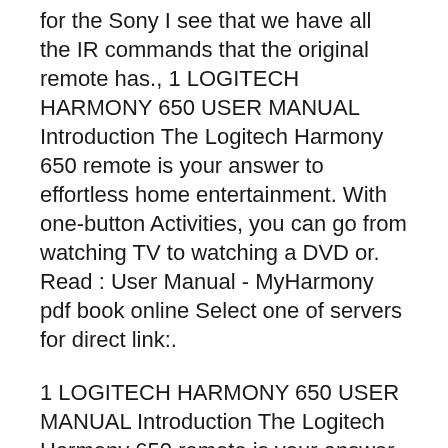for the Sony I see that we have all the IR commands that the original remote has., 1 LOGITECH HARMONY 650 USER MANUAL Introduction The Logitech Harmony 650 remote is your answer to effortless home entertainment. With one-button Activities, you can go from watching TV to watching a DVD or. Read : User Manual - MyHarmony pdf book online Select one of servers for direct link:.
1 LOGITECH HARMONY 650 USER MANUAL Introduction The Logitech Harmony 650 remote is your answer to effortless home entertainment. With one-button Activities, you can go from watching TV to watching a DVD or. Read